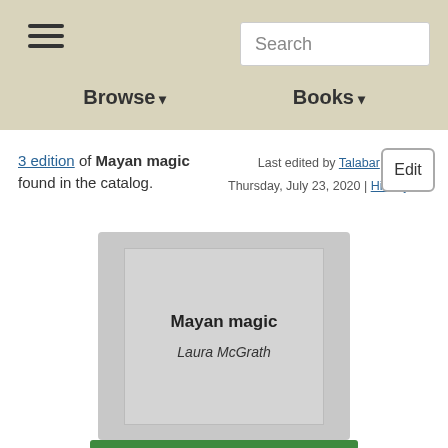Search | Browse | Books
3 edition of Mayan magic found in the catalog.
Last edited by Talabar Thursday, July 23, 2020 | History
Edit
[Figure (illustration): Book cover placeholder showing title 'Mayan magic' and author 'Laura McGrath' on a grey background]
Mayan magic
Laura McGrath